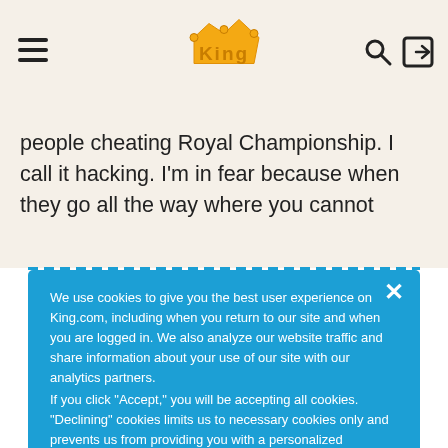[Figure (logo): King.com logo with crown and text in orange/yellow]
people cheating Royal Championship. I call it hacking. I'm in fear because when they go all the way where you cannot
We use cookies to give you the best user experience on King.com, including when you return to our site and when you are logged in. We also analyze our website traffic and share information about your use of our site with our analytics partners.
If you click "Accept," you will be accepting all cookies. "Declining" cookies limits us to necessary cookies only and prevents us from providing you with a personalized experience.
Accept Cookies
Decline
Cookies Settings